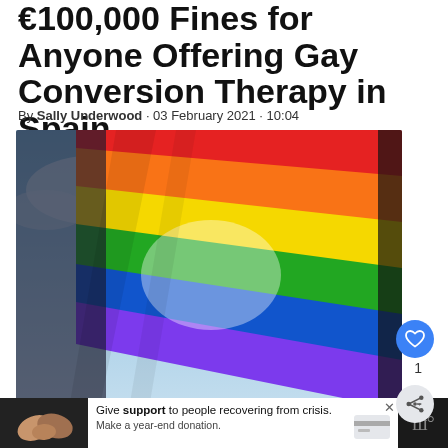€100,000 Fines for Anyone Offering Gay Conversion Therapy in Spain
By Sally Underwood · 03 February 2021 · 10:04
[Figure (photo): Rainbow pride flag waving against a blue sky with clouds, sunlight visible through the fabric.]
Poland To Ban Gay Single Parents From Adopting Image: Wikimedia/Ludovic Bertron
[Figure (photo): Advertisement banner at bottom: hands clasped together on left, white ad box reading 'Give support to people recovering from crisis. Make a year-end donation.' with close button and credit card icon.]